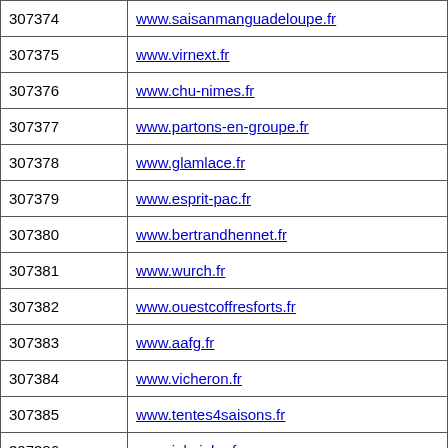| ID | URL |
| --- | --- |
| 307374 | www.saisanmanguadeloupe.fr |
| 307375 | www.virnext.fr |
| 307376 | www.chu-nimes.fr |
| 307377 | www.partons-en-groupe.fr |
| 307378 | www.glamlace.fr |
| 307379 | www.esprit-pac.fr |
| 307380 | www.bertrandhennet.fr |
| 307381 | www.wurch.fr |
| 307382 | www.ouestcoffresforts.fr |
| 307383 | www.aafg.fr |
| 307384 | www.vicheron.fr |
| 307385 | www.tentes4saisons.fr |
| 307386 | www.jobyjoba.fr |
| 307387 | www.inovapeo.fr |
| 307388 | www.dagora.fr |
| 307389 | www.simulateur-aube.fr |